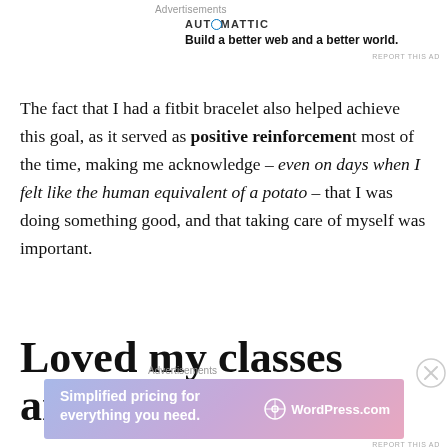Advertisements
[Figure (other): Automattic advertisement: logo text 'AUTOMATTIC' and tagline 'Build a better web and a better world.']
The fact that I had a fitbit bracelet also helped achieve this goal, as it served as positive reinforcement most of the time, making me acknowledge – even on days when I felt like the human equivalent of a potato – that I was doing something good, and that taking care of myself was important.
Loved my classes and my
Advertisements
[Figure (other): WordPress.com advertisement banner: 'Simplified pricing for everything you need.' with WordPress.com logo]